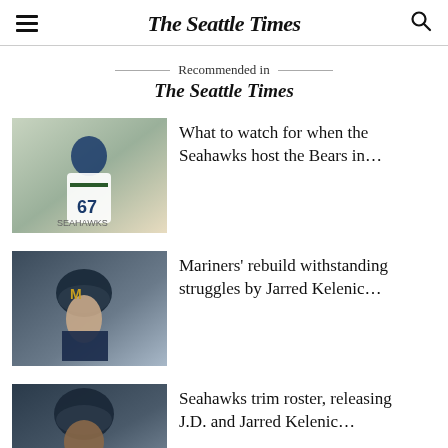The Seattle Times
Recommended in The Seattle Times
[Figure (photo): Seattle Seahawks player wearing jersey number 67 in white uniform on the field]
What to watch for when the Seahawks host the Bears in...
[Figure (photo): Seattle Mariners baseball player wearing navy helmet looking to the side]
Mariners' rebuild withstanding struggles by Jarred Kelenic...
[Figure (photo): Seattle Seahawks player in uniform, partial view]
Seahawks trim roster, releasing J.D. and Jarred Kelenic...